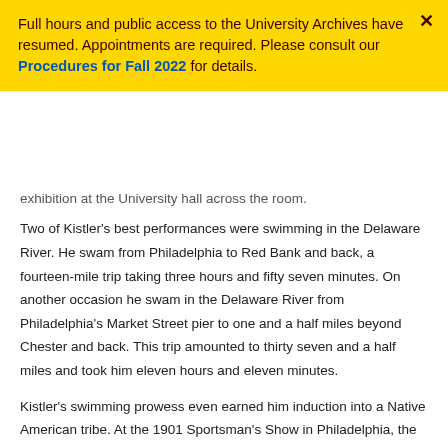Full hours and public access to the University Archives have resumed. Appointments are required. Please consult our Procedures for Fall 2022 for details.
exhibition at the University hall across the room.
Two of Kistler's best performances were swimming in the Delaware River. He swam from Philadelphia to Red Bank and back, a fourteen-mile trip taking three hours and fifty seven minutes. On another occasion he swam in the Delaware River from Philadelphia's Market Street pier to one and a half miles beyond Chester and back. This trip amounted to thirty seven and a half miles and took him eleven hours and eleven minutes.
Kistler's swimming prowess even earned him induction into a Native American tribe. At the 1901 Sportsman's Show in Philadelphia, the Ojibway tribe